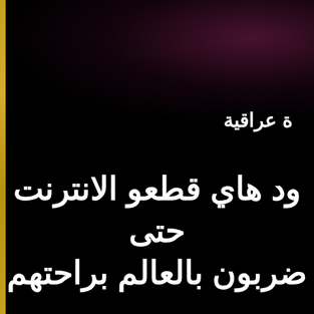[Figure (screenshot): Dark black background with a subtle purple-red glow/blur in the upper right area, resembling a social media post or video screenshot with Arabic text overlaid. A thin gold/yellow vertical border runs along the left edge.]
ة عراقية
ود هاي قطعو الانترنت حتى ضربون بالعالم براحتهم